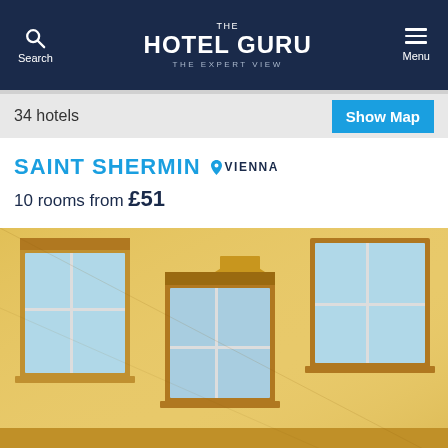THE HOTEL GURU — The Expert View | Search | Menu
34 hotels
Show Map
SAINT SHERMIN
VIENNA
10 rooms from £51
[Figure (photo): Exterior facade of a yellow classical European hotel building with white-framed windows, photographed from a low angle]